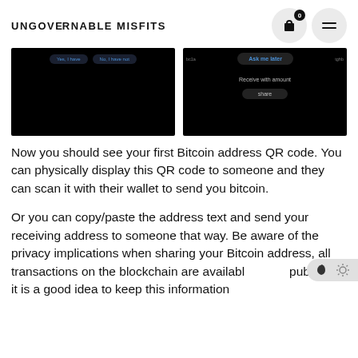UNGOVERNABLE MISFITS
[Figure (screenshot): Two mobile app screenshots side by side on dark/black backgrounds. Left screenshot shows two dialog buttons partially visible at top. Right screenshot shows a dark UI with 'Ask me later' button highlighted in blue, 'Receive with amount' text, and a 'share' button.]
Now you should see your first Bitcoin address QR code. You can physically display this QR code to someone and they can scan it with their wallet to send you bitcoin.
Or you can copy/paste the address text and send your receiving address to someone that way. Be aware of the privacy implications when sharing your Bitcoin address, all transactions on the blockchain are available to the public so it is a good idea to keep this information